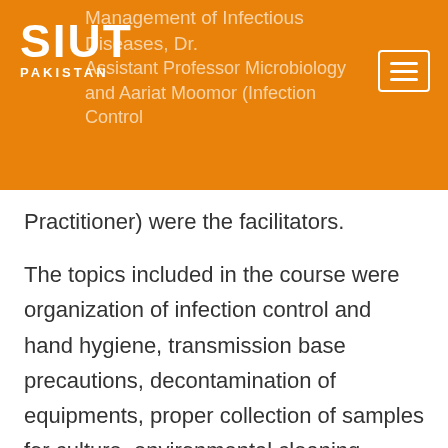SIUT PAKISTAN — Management of Infectious Diseases, Dr. — Assistant Professor Microbiology and Aariat Moomor (Infection Control Practitioner) were the facilitators.
Practitioner) were the facilitators.
The topics included in the course were organization of infection control and hand hygiene, transmission base precautions, decontamination of equipments, proper collection of samples for culture, environmental cleaning, laundry and waste disposal, prevention of intravascular device associated infection and urinary tract infections and needle stick injury.
Sessions comprised power point